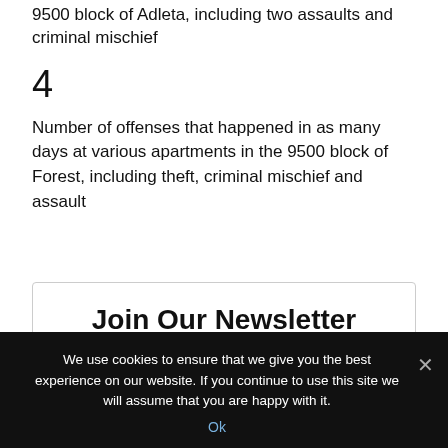9500 block of Adleta, including two assaults and criminal mischief
4
Number of offenses that happened in as many days at various apartments in the 9500 block of Forest, including theft, criminal mischief and assault
Join Our Newsletter
We use cookies to ensure that we give you the best experience on our website. If you continue to use this site we will assume that you are happy with it.
Ok